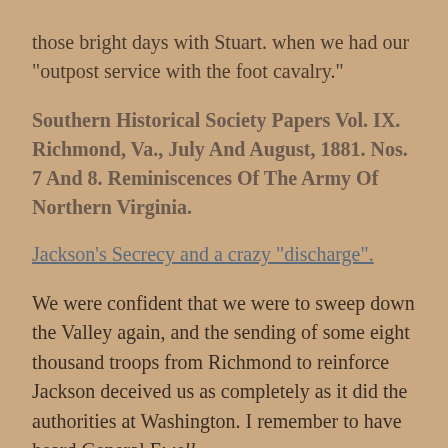those bright days with Stuart. when we had our "outpost service with the foot cavalry."
Southern Historical Society Papers Vol. IX. Richmond, Va., July And August, 1881. Nos. 7 And 8. Reminiscences Of The Army Of Northern Virginia.
Jackson's Secrecy and a crazy "discharge".
We were confident that we were to sweep down the Valley again, and the sending of some eight thousand troops from Richmond to reinforce Jackson deceived us as completely as it did the authorities at Washington. I remember to have heard General Ewell...